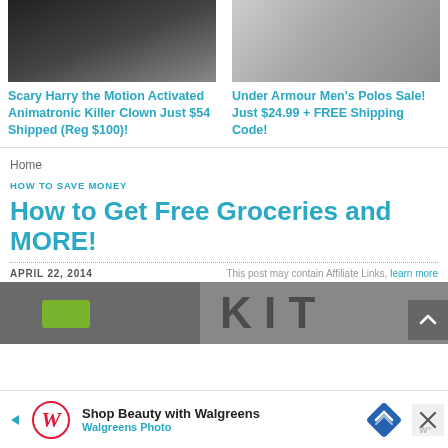[Figure (photo): Left product photo showing dark Halloween clown animatronic figure]
Scary Harry the Motion Activated Animatronic Killer Clown Just $54 Shipped (Reg $100)!
[Figure (photo): Right product photo showing clothing on hangers (Under Armour polos)]
Under Armour Men’s Polos Sale! Just $24.99 + FREE Shipping Code!
Home
HOW TO SAVE MONEY
How to Get Free Groceries and MORE!
APRIL 22, 2014
This post may contain Affiliate Links, learn more
[Figure (photo): Partial article image showing grocery/store signage in background]
[Figure (photo): Walgreens advertisement banner: Shop Beauty with Walgreens, Walgreens Photo]